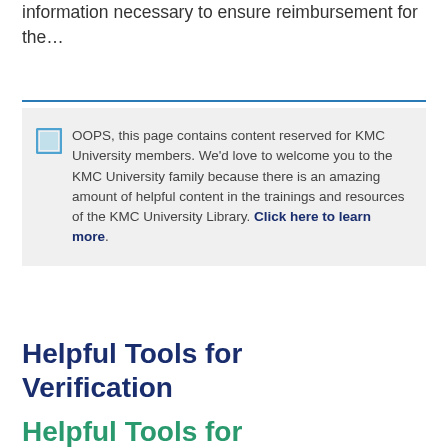information necessary to ensure reimbursement for the…
OOPS, this page contains content reserved for KMC University members. We'd love to welcome you to the KMC University family because there is an amazing amount of helpful content in the trainings and resources of the KMC University Library. Click here to learn more.
Helpful Tools for Verification
Helpful Tools for